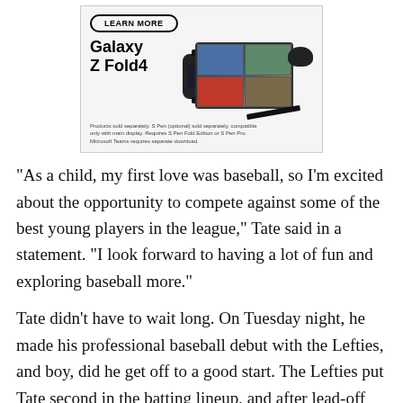[Figure (illustration): Samsung Galaxy Z Fold4 advertisement with LEARN MORE button, showing a smartwatch, foldable tablet with video call, earbuds, and S Pen. Text: 'Galaxy Z Fold4'. Disclaimer: 'Products sold separately. S Pen (optional) sold separately, compatible only with main display. Requires S Pen Fold Edition or S Pen Pro. Microsoft Teams requires separate download.']
“As a child, my first love was baseball, so I’m excited about the opportunity to compete against some of the best young players in the league,” Tate said in a statement. “I look forward to having a lot of fun and exploring baseball more.”
Tate didn’t have to wait long. On Tuesday night, he made his professional baseball debut with the Lefties, and boy, did he get off to a good start. The Lefties put Tate second in the batting lineup, and after lead-off batter Kemet Brown advanced to first on an error, Tate